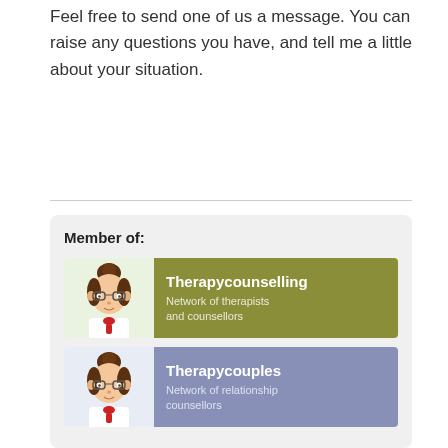Feel free to send one of us a message. You can raise any questions you have, and tell me a little about your situation.
Contact
[Figure (illustration): Blue rounded rectangle button with white text reading 'Contact']
Member of:
[Figure (logo): Therapycounselling banner: cartoon female therapist avatar on green background, olive-colored panel with white text 'Therapycounselling' and 'Network of therapists and counsellors']
[Figure (logo): Therapycouples banner: cartoon female therapist avatar on light blue background, periwinkle-colored panel with white text 'Therapycouples' and 'Network of relationship counsellors']